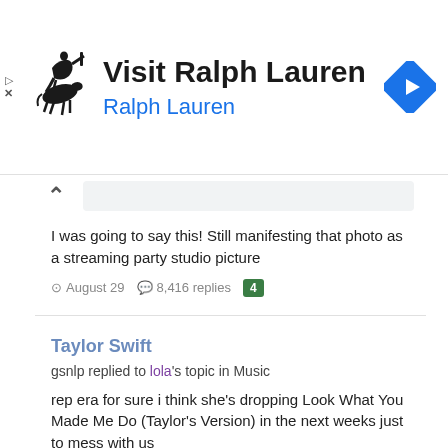[Figure (other): Ralph Lauren advertisement banner with polo player logo, text 'Visit Ralph Lauren' and 'Ralph Lauren', and a blue navigation diamond icon]
I was going to say this! Still manifesting that photo as a streaming party studio picture
August 29  8,416 replies  4
Taylor Swift
gsnlp replied to lola's topic in Music
rep era for sure i think she's dropping Look What You Made Me Do (Taylor's Version) in the next weeks just to mess with us
August 29  2,343 replies
Lana with a fan while dining out in Los Angeles, CA - August 27th, 2022